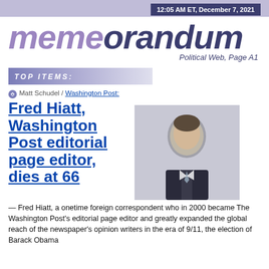12:05 AM ET, December 7, 2021
memeorandum
Political Web, Page A1
TOP ITEMS:
Matt Schudel / Washington Post:
[Figure (photo): Headshot photo of Fred Hiatt, a man in a dark suit with a light blue tie, against a light background]
Fred Hiatt, Washington Post editorial page editor, dies at 66 — Fred Hiatt, a onetime foreign correspondent who in 2000 became The Washington Post's editorial page editor and greatly expanded the global reach of the newspaper's opinion writers in the era of 9/11, the election of Barack Obama ...